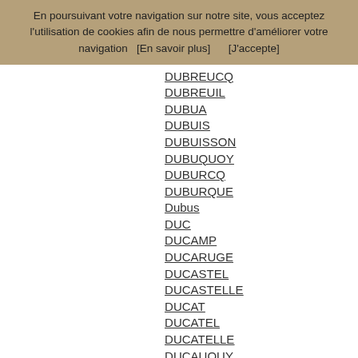En poursuivant votre navigation sur notre site, vous acceptez l'utilisation de cookies afin de nous permettre d'améliorer votre navigation   [En savoir plus]        [J'accepte]
DUBREUCQ
DUBREUIL
DUBUA
DUBUIS
DUBUISSON
DUBUQUOY
DUBURCQ
DUBURQUE
Dubus
DUC
DUCAMP
DUCARUGE
DUCASTEL
DUCASTELLE
DUCAT
DUCATEL
DUCATELLE
DUCAUQUY
DUCEILLIER
DUCELLIER
DUCHAISNE
DUCHANGE